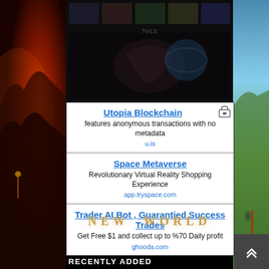[Figure (screenshot): Top dark banner area with gaming imagery]
[Figure (infographic): Advertisement block 1: Utopia Blockchain - features anonymous transactions with no metadata - u.is]
[Figure (infographic): Advertisement block 2: Space Metaverse - Revolutionary Virtual Reality Shopping Experience - app.tryspace.com]
[Figure (infographic): Advertisement block 3: Trader AI Bot, Guarantied Success Trades - Get Free $1 and collect up to %70 Daily profit - ghooda.com]
NEW WORLD
RECENTLY ADDED